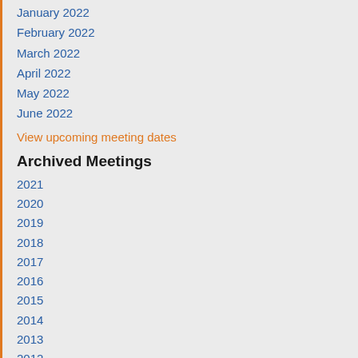January 2022
February 2022
March 2022
April 2022
May 2022
June 2022
View upcoming meeting dates
Archived Meetings
2021
2020
2019
2018
2017
2016
2015
2014
2013
2012
2011
2010